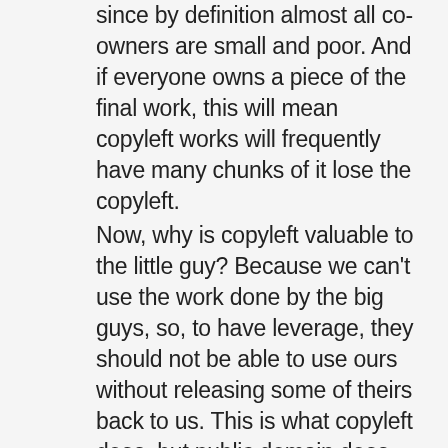since by definition almost all co-owners are small and poor. And if everyone owns a piece of the final work, this will mean copyleft works will frequently have many chunks of it lose the copyleft.
Now, why is copyleft valuable to the little guy? Because we can't use the work done by the big guys, so, to have leverage, they should not be able to use ours without releasing some of theirs back to us. This is what copyleft does, but public domain does not. [In open source software, the GPL is very popular because of this check it places on greedier players that don't open up at all.]
A further problem exists with software copyrights because software has an ability for tremendous lock-in through trade secrets (closed source frequently updating software). This means in software monopolies arise (from trade secret) in